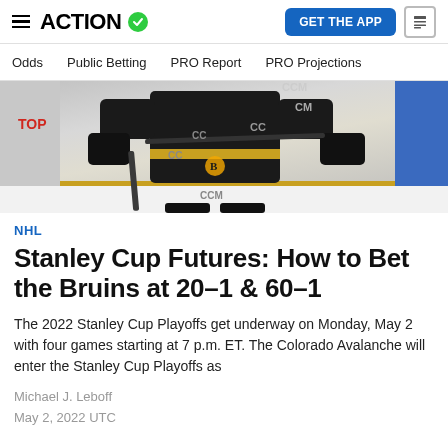ACTION
Odds  Public Betting  PRO Report  PRO Projections
[Figure (photo): Hockey player in black uniform holding a stick on an ice rink, partial body view from waist down showing CCM equipment and Boston Bruins logo]
NHL
Stanley Cup Futures: How to Bet the Bruins at 20-1 & 60-1
The 2022 Stanley Cup Playoffs get underway on Monday, May 2 with four games starting at 7 p.m. ET. The Colorado Avalanche will enter the Stanley Cup Playoffs as
Michael J. Leboff
May 2, 2022 UTC